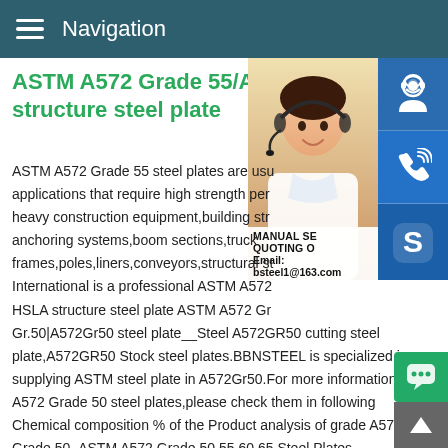Navigation
ASTM A572 Grade 55/A572 G structure steel plate
[Figure (photo): Customer service representative woman wearing headset, with blue sidebar icons for customer support, phone/call, and Skype, plus a contact info overlay showing MANUAL SE..., QUOTING O..., Email: bsteel1@163.com]
ASTM A572 Grade 55 steel plates are usu applications that require high strength per heavy construction equipment,building str anchoring systems,boom sections,truck frames,poles,liners,conveyors,structural st International is a professional ASTM A572 HSLA structure steel plate ASTM A572 Gr Gr.50|A572Gr50 steel plate__Steel A572GR50 cutting steel plate,A572GR50 Stock steel plates.BBNSTEEL is specialized in supplying ASTM steel plate in A572Gr50.For more information of A572 Grade 50 steel plates,please check them in following Chemical composition % of the Product analysis of grade A57 Grade 50 .ASTM A572 Grade 50,55,60,65 Steel Plates